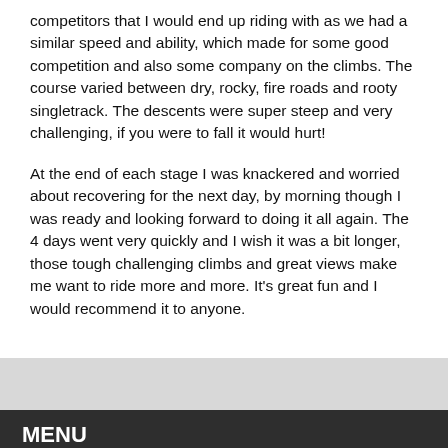competitors that I would end up riding with as we had a similar speed and ability, which made for some good competition and also some company on the climbs. The course varied between dry, rocky, fire roads and rooty singletrack. The descents were super steep and very challenging, if you were to fall it would hurt!
At the end of each stage I was knackered and worried about recovering for the next day, by morning though I was ready and looking forward to doing it all again. The 4 days went very quickly and I wish it was a bit longer, those tough challenging climbs and great views make me want to ride more and more. It's great fun and I would recommend it to anyone.
MENU